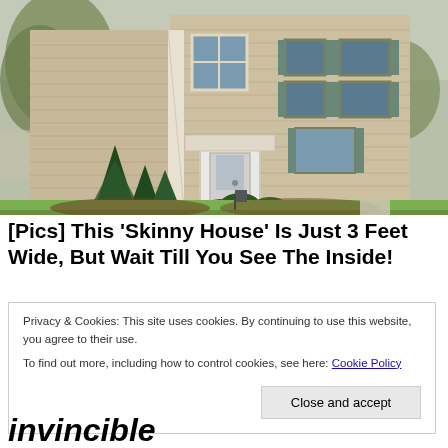[Figure (photo): Exterior photo of a two-story beige/tan sided house with white trim, white front door, evergreen shrubs, and a green lawn. Trees are visible on both sides.]
[Pics] This 'Skinny House' Is Just 3 Feet Wide, But Wait Till You See The Inside!
Privacy & Cookies: This site uses cookies. By continuing to use this website, you agree to their use.
To find out more, including how to control cookies, see here: Cookie Policy

Close and accept
invincible